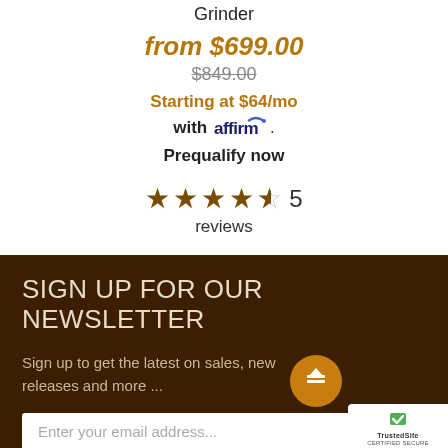Grinder
from $699.00
$849.00
Starting at $64/mo with affirm. Prequalify now
4.5 stars, 5 reviews
SIGN UP FOR OUR NEWSLETTER
Sign up to get the latest on sales, new releases and more ...
Enter your email address...